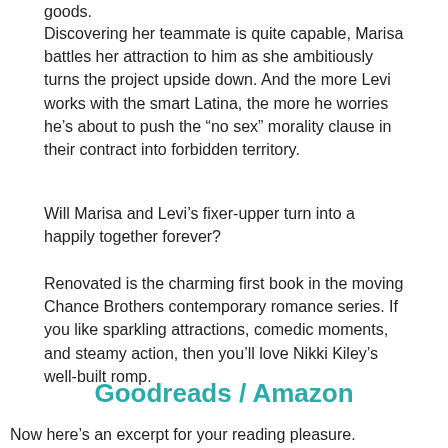goods.
Discovering her teammate is quite capable, Marisa battles her attraction to him as she ambitiously turns the project upside down. And the more Levi works with the smart Latina, the more he worries he's about to push the “no sex” morality clause in their contract into forbidden territory.
Will Marisa and Levi’s fixer-upper turn into a happily together forever?
Renovated is the charming first book in the moving Chance Brothers contemporary romance series. If you like sparkling attractions, comedic moments, and steamy action, then you’ll love Nikki Kiley’s well-built romp.
Goodreads / Amazon
Now here’s an excerpt for your reading pleasure.